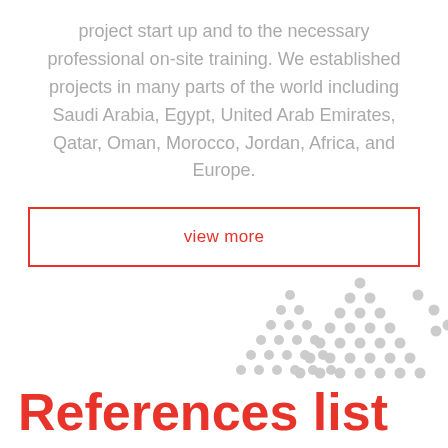project start up and to the necessary professional on-site training. We established projects in many parts of the world including Saudi Arabia, Egypt, United Arab Emirates, Qatar, Oman, Morocco, Jordan, Africa, and Europe.
view more
[Figure (illustration): Decorative dot pattern forming triangle/mountain shapes in light grey]
References list
Egypt 🇪🇬